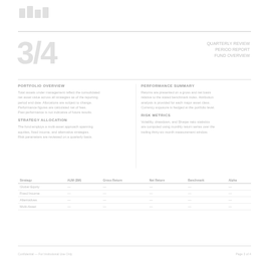[Figure (logo): Small institutional or fund logo mark in light grey]
Section / Report header line
Large decorative section number in light grey
Section label and descriptor text top right
Column left block title
Column left descriptive body text
Column right block title
Column right descriptive body text
| Category | Value A | Value B | Value C |
| --- | --- | --- | --- |
| Item 1 | -- | -- | -- |
| Item 2 | -- | -- | -- |
| Item 3 | -- | -- | -- |
Footer text left                                                          Page number right